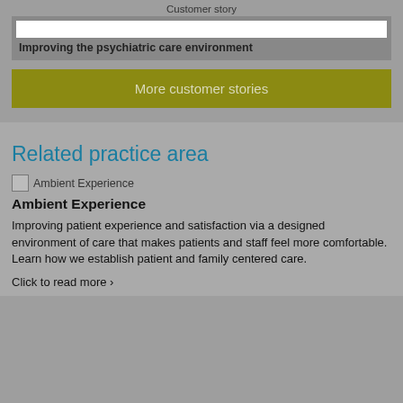Customer story
[Figure (screenshot): Customer story card with white bar and title 'Improving the psychiatric care environment']
Improving the psychiatric care environment
More customer stories
Related practice area
[Figure (photo): Ambient Experience image placeholder]
Ambient Experience
Improving patient experience and satisfaction via a designed environment of care that makes patients and staff feel more comfortable. Learn how we establish patient and family centered care.
Click to read more ›